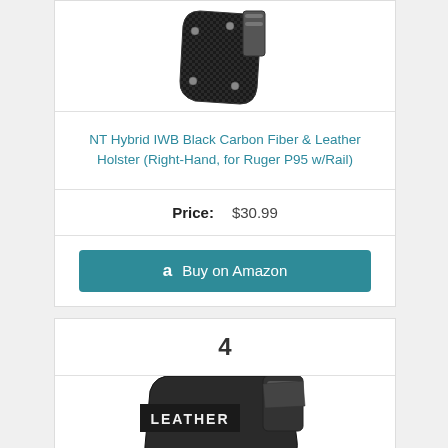[Figure (photo): Black carbon fiber holster product photo, partially cropped at top]
NT Hybrid IWB Black Carbon Fiber & Leather Holster (Right-Hand, for Ruger P95 w/Rail)
Price: $30.99
Buy on Amazon
4
[Figure (photo): Leather holster product photo with LEATHER text label, partially cropped at bottom]